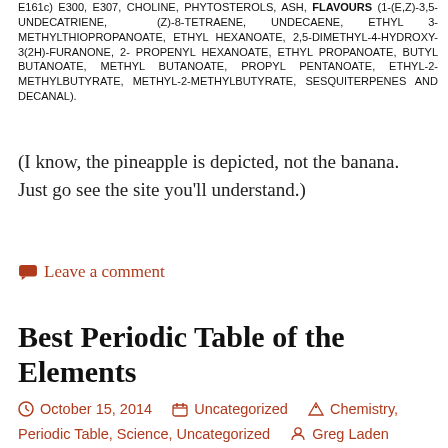E161c) E300, E307, CHOLINE, PHYTOSTEROLS, ASH, FLAVOURS (1-(E,Z)-3,5-UNDECATRIENE, (Z)-8-TETRAENE, UNDECAENE, ETHYL 3-METHYLTHIOPROPANOATE, ETHYL HEXANOATE, 2,5-DIMETHYL-4-HYDROXY-3(2H)-FURANONE, 2-PROPENYL HEXANOATE, ETHYL PROPANOATE, BUTYL BUTANOATE, METHYL BUTANOATE, PROPYL PENTANOATE, ETHYL-2-METHYLBUTYRATE, METHYL-2-METHYLBUTYRATE, SESQUITERPENES AND DECANAL).
(I know, the pineapple is depicted, not the banana. Just go see the site you'll understand.)
Leave a comment
Best Periodic Table of the Elements
October 15, 2014   Uncategorized   Chemistry, Periodic Table, Science, Uncategorized   Greg Laden